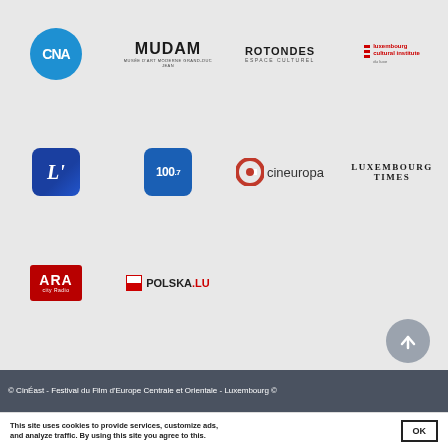[Figure (logo): CNA logo - blue circle with CNA text]
[Figure (logo): MUDAM - Musée d'Art Moderne logo]
[Figure (logo): Rotondes Espace Culturel logo]
[Figure (logo): Luxembourg cultural institute logo]
[Figure (logo): L'essentiel blue rounded square logo]
[Figure (logo): 100.7 radio blue rounded square logo]
[Figure (logo): Cineuropa logo with C icon]
[Figure (logo): Luxembourg Times logo]
[Figure (logo): ARA City Radio red logo]
[Figure (logo): POLSKA.LU logo with Polish flag]
© CinÉast - Festival du Film d'Europe Centrale et Orientale - Luxembourg ©
This site uses cookies to provide services, customize ads, and analyze traffic. By using this site you agree to this.